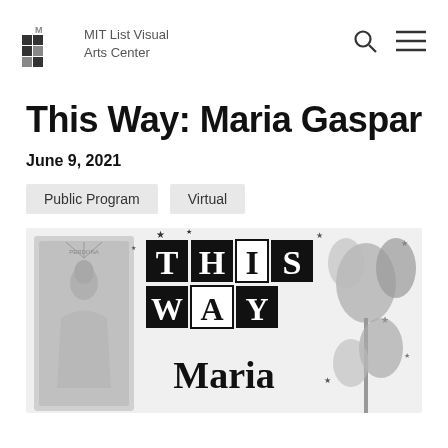MIT List Visual Arts Center
This Way: Maria Gaspar
June 9, 2021
Public Program
Virtual
[Figure (illustration): Event promotional image for 'This Way: Maria Gaspar' showing decorative typography with the words 'This Way' and 'Maria' in mixed black and white lettering, alongside an image of Our Lady of Guadalupe on the left and floral/star decorative elements on a grey background.]